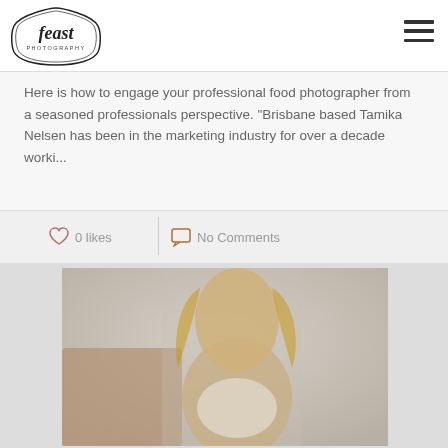Feast Photography
Here is how to engage your professional food photographer from a seasoned professionals perspective. "Brisbane based Tamika Nelsen has been in the marketing industry for over a decade worki...
0 likes   No Comments
[Figure (photo): Portrait photo of a blonde woman sitting on a couch, partially visible, photographed in a studio/indoor setting with muted tones]